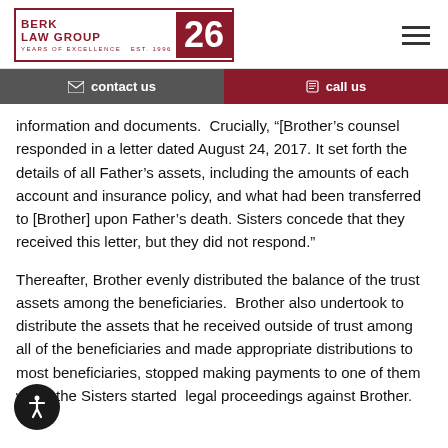[Figure (logo): Berk Law Group logo with '26 Years of Excellence Est. 1996' and a dark red/maroon color scheme]
contact us   call us
information and documents.  Crucially, "[Brother's counsel responded in a letter dated August 24, 2017. It set forth the details of all Father’s assets, including the amounts of each account and insurance policy, and what had been transferred to [Brother] upon Father’s death. Sisters concede that they received this letter, but they did not respond."
Thereafter, Brother evenly distributed the balance of the trust assets among the beneficiaries.  Brother also undertook to distribute the assets that he received outside of trust among all of the beneficiaries and made appropriate distributions to most beneficiaries, stopped making payments to one of them when the Sisters started  legal proceedings against Brother.